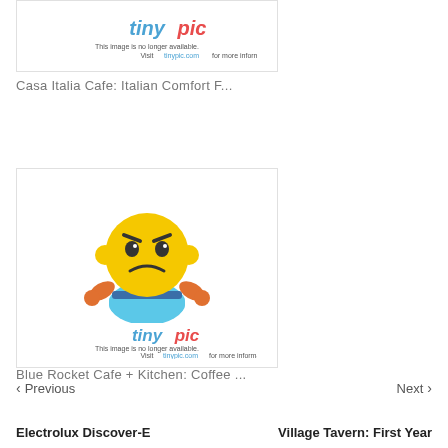[Figure (illustration): Tinypic placeholder image showing the tinypic logo and the message 'This image is no longer available. Visit tinypic.com for more information.']
Casa Italia Cafe: Italian Comfort F...
[Figure (illustration): Tinypic placeholder image with a yellow sad/frustrated smiley face character, the tinypic logo, and the message 'This image is no longer available. Visit tinypic.com for more information.']
Blue Rocket Cafe + Kitchen: Coffee ...
< Previous   Next >
Electrolux Discover-E
Village Tavern: First Year